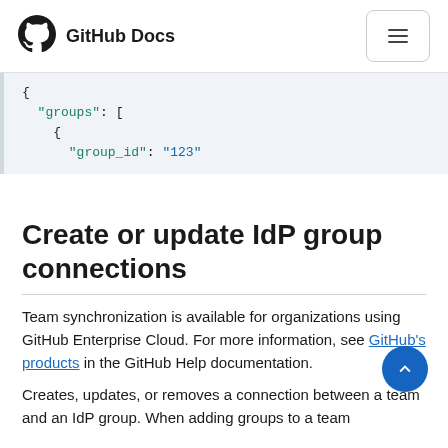GitHub Docs
[Figure (screenshot): Code block showing JSON with groups array and group_id field]
Create or update IdP group connections
Team synchronization is available for organizations using GitHub Enterprise Cloud. For more information, see GitHub's products in the GitHub Help documentation.
Creates, updates, or removes a connection between a team and an IdP group. When adding groups to a team